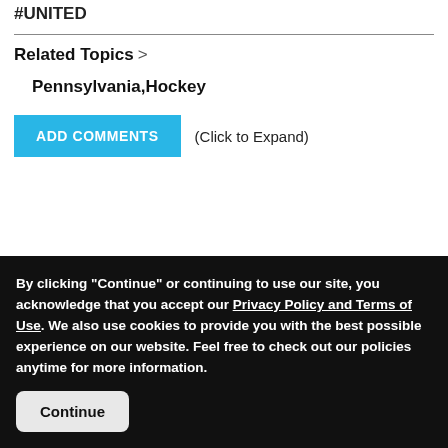#UNITED
Related Topics >
Pennsylvania,Hockey
ADD COMMENTS (Click to Expand)
By clicking "Continue" or continuing to use our site, you acknowledge that you accept our Privacy Policy and Terms of Use. We also use cookies to provide you with the best possible experience on our website. Feel free to check out our policies anytime for more information.
Continue